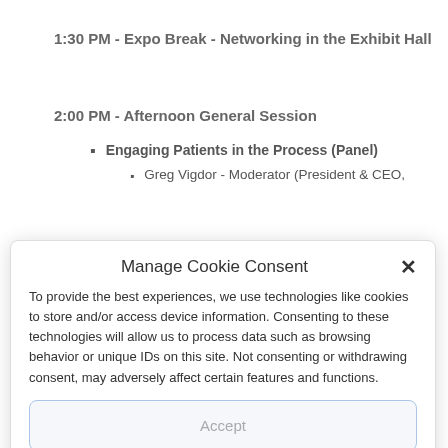1:30  PM - Expo Break - Networking in the Exhibit Hall
2:00 PM - Afternoon General Session
Engaging Patients in the Process (Panel)
Greg Vigdor - Moderator (President & CEO,
Manage Cookie Consent
To provide the best experiences, we use technologies like cookies to store and/or access device information. Consenting to these technologies will allow us to process data such as browsing behavior or unique IDs on this site. Not consenting or withdrawing consent, may adversely affect certain features and functions.
Accept
Do Not Sell My Personal Information   Privacy statement